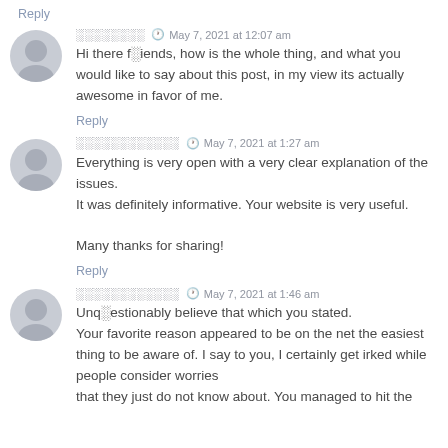Reply
░░░░░░░░  May 7, 2021 at 12:07 am
Hi there f░iends, how is the whole thing, and what you would like to say about this post, in my view its actually awesome in favor of me.
Reply
░░░░░░░░░░░░  May 7, 2021 at 1:27 am
Everything is very open with a very clear explanation of the issues.
It was definitely informative. Your website is very useful.

Many thanks for sharing!
Reply
░░░░░░░░░░░░  May 7, 2021 at 1:46 am
Unq░estionably believe that which you stated.
Your favorite reason appeared to be on the net the easiest thing to be aware of. I say to you, I certainly get irked while people consider worries
that they just do not know about. You managed to hit the nail on the head. I don't know about this, without doubt this without...